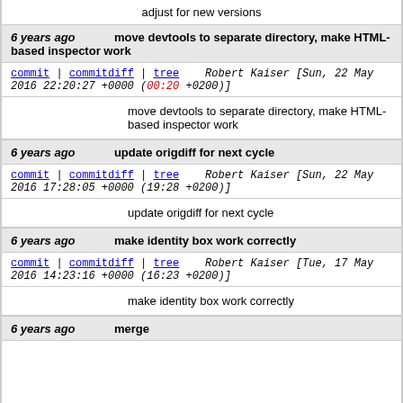adjust for new versions
6 years ago   move devtools to separate directory, make HTML-based inspector work
commit | commitdiff | tree   Robert Kaiser [Sun, 22 May 2016 22:20:27 +0000 (00:20 +0200)]
move devtools to separate directory, make HTML-based inspector work
6 years ago   update origdiff for next cycle
commit | commitdiff | tree   Robert Kaiser [Sun, 22 May 2016 17:28:05 +0000 (19:28 +0200)]
update origdiff for next cycle
6 years ago   make identity box work correctly
commit | commitdiff | tree   Robert Kaiser [Tue, 17 May 2016 14:23:16 +0000 (16:23 +0200)]
make identity box work correctly
6 years ago   merge